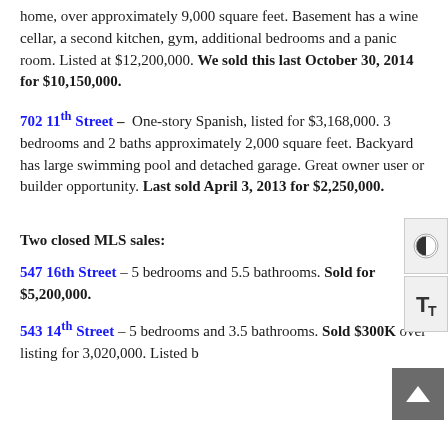home, over approximately 9,000 square feet. Basement has a wine cellar, a second kitchen, gym, additional bedrooms and a panic room. Listed at $12,200,000. We sold this last October 30, 2014 for $10,150,000.
702 11th Street – One-story Spanish, listed for $3,168,000. 3 bedrooms and 2 baths approximately 2,000 square feet. Backyard has large swimming pool and detached garage. Great owner user or builder opportunity. Last sold April 3, 2013 for $2,250,000.
Two closed MLS sales:
547 16th Street – 5 bedrooms and 5.5 bathrooms. Sold for $5,200,000.
543 14th Street – 5 bedrooms and 3.5 bathrooms. Sold $300K over listing for 3,020,000. Listed at...